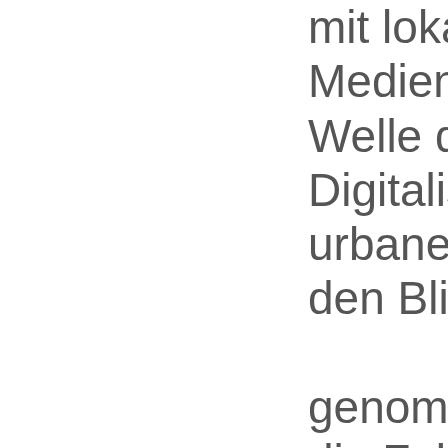mit lokativen Medien die jüngste Welle der Digitalisierung urbaner Räume in den Blick genommen hat und die Folgen dieses Refigurationsprozesses für die Frage der Zugänglichkeit öffentlicher Orte empirisch untersucht und